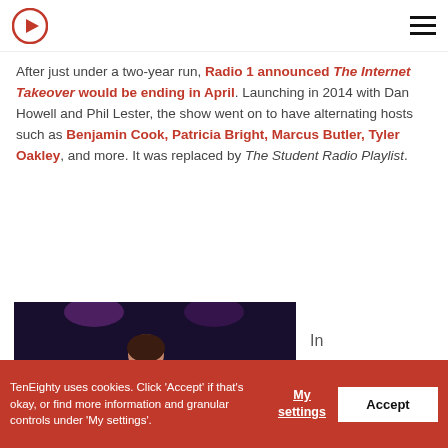TenEighty logo and navigation menu
After just under a two-year run, Radio 1 announced The Internet Takeover would be ending in April. Launching in 2014 with Dan Howell and Phil Lester, the show went on to have alternating hosts such as Benjamin Cook, Patricia Bright, Marcus Butler, Tyler Oakley, and more. It was replaced by The Student Radio Playlist.
[Figure (photo): A woman singing into a microphone on a stage, wearing a black outfit, with purple stage lighting in the background.]
In
TenEighty uses cookies. Click 'Accept' if that's okay, or find more information and granular controls under 'My settings'.